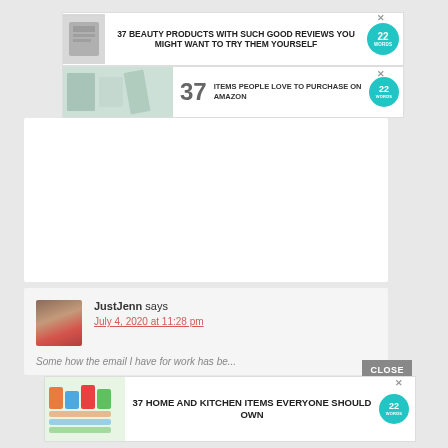[Figure (screenshot): Advertisement banner: 37 Beauty Products with such good reviews you might want to try them yourself]
[Figure (screenshot): Advertisement banner: 37 Items people love to purchase on Amazon]
[Figure (screenshot): White/grey content placeholder area]
JustJenn says
July 4, 2020 at 11:28 pm
Some how the email I have for work has be...
[Figure (screenshot): CLOSE button overlay]
[Figure (screenshot): Advertisement banner: 37 Home and Kitchen Items Everyone Should Own]